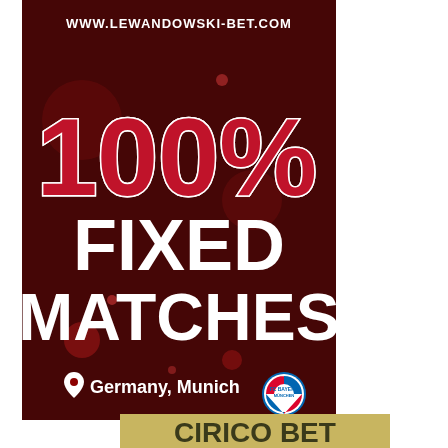[Figure (infographic): Dark red/crimson background advertisement banner. Top: URL 'WWW.LEWANDOWSKI-BET.COM' in white bold text. Center: '100%' in large red letters with white outline, below that 'FIXED MATCHES' in large white bold text. Bottom: location pin icon with 'Germany, Munich' text and FC Bayern München logo. The ad is for a fixed matches betting service.]
[Figure (infographic): Gold/tan background advertisement banner partially visible at the bottom of the page. Dark text 'CIRICO BET' or similar partially visible.]